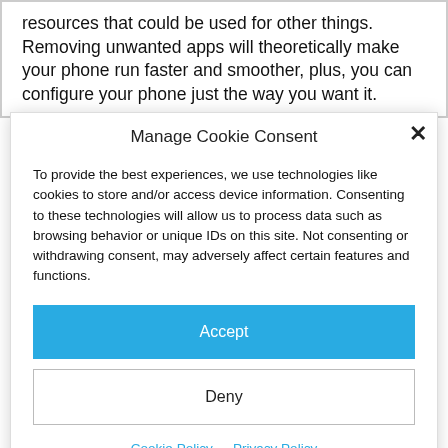resources that could be used for other things. Removing unwanted apps will theoretically make your phone run faster and smoother, plus, you can configure your phone just the way you want it.
Manage Cookie Consent
To provide the best experiences, we use technologies like cookies to store and/or access device information. Consenting to these technologies will allow us to process data such as browsing behavior or unique IDs on this site. Not consenting or withdrawing consent, may adversely affect certain features and functions.
Accept
Deny
Cookie Policy  Privacy Policy